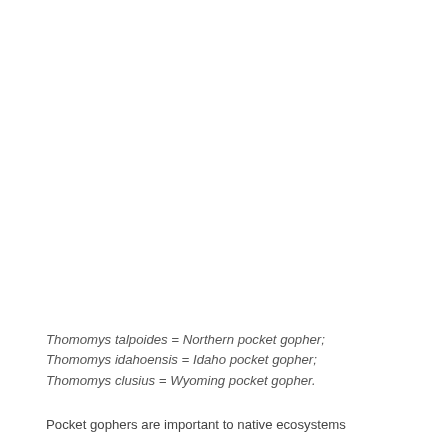Thomomys talpoides = Northern pocket gopher; Thomomys idahoensis = Idaho pocket gopher; Thomomys clusius = Wyoming pocket gopher.
Pocket gophers are important to native ecosystems